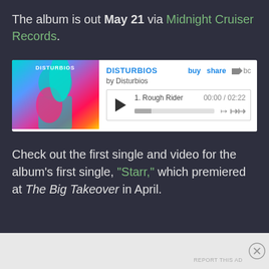The album is out May 21 via Midnight Cruiser Records.
[Figure (screenshot): Bandcamp embedded music player for DISTURBIOS by Disturbios, showing album art on the left and track 1. Rough Rider with time 00:00 / 02:22, play button, progress bar, and navigation controls. Buy, share, and bc links visible.]
Check out the first single and video for the album's first single, "Starr," which premiered at The Big Takeover in April.